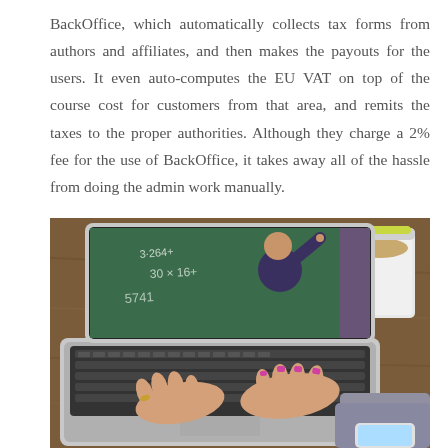BackOffice, which automatically collects tax forms from authors and affiliates, and then makes the payouts for the users. It even auto-computes the EU VAT on top of the course cost for customers from that area, and remits the taxes to the proper authorities. Although they charge a 2% fee for the use of BackOffice, it takes away all of the hassle from doing the admin work manually.
[Figure (photo): A person typing on a MacBook Air laptop showing a video of a professor writing math on a chalkboard. A coffee cup is visible to the right on a wooden desk.]